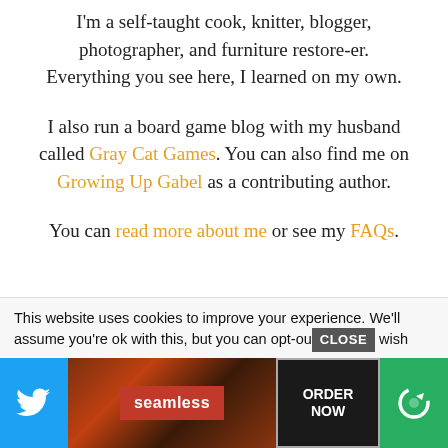I'm a self-taught cook, knitter, blogger, photographer, and furniture restore-er. Everything you see here, I learned on my own.
I also run a board game blog with my husband called Gray Cat Games. You can also find me on Growing Up Gabel as a contributing author.
You can read more about me or see my FAQs.
This website uses cookies to improve your experience. We'll assume you're ok with this, but you can opt-out if you wish
[Figure (screenshot): Advertisement bar at the bottom showing Twitter icon on blue background, food photo, Seamless red button, ORDER NOW button, and a reload icon on green background]